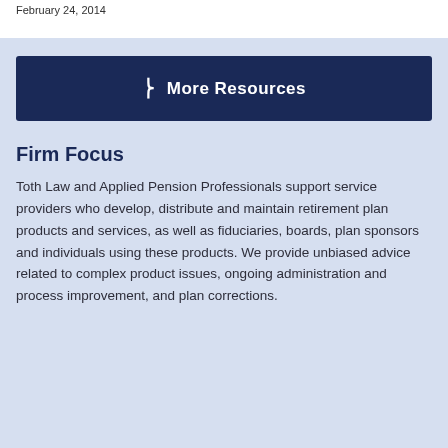February 24, 2014
More Resources
Firm Focus
Toth Law and Applied Pension Professionals support service providers who develop, distribute and maintain retirement plan products and services, as well as fiduciaries, boards, plan sponsors and individuals using these products. We provide unbiased advice related to complex product issues, ongoing administration and process improvement, and plan corrections.